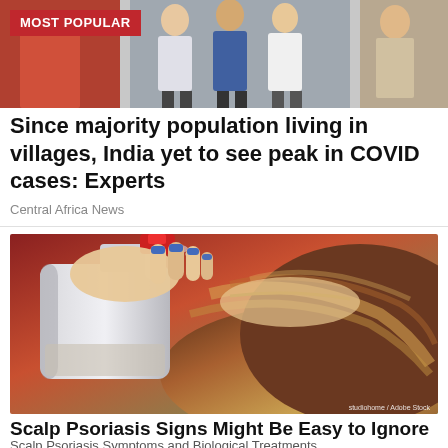[Figure (photo): Top photo strip showing people in background, partially visible]
MOST POPULAR
Since majority population living in villages, India yet to see peak in COVID cases: Experts
Central Africa News
[Figure (photo): Close-up photo of a person spraying something on their scalp/hair with a white spray bottle with red cap, with blue painted fingernails visible]
Scalp Psoriasis Signs Might Be Easy to Ignore
Scalp Psoriasis Symptoms and Biological Treatments